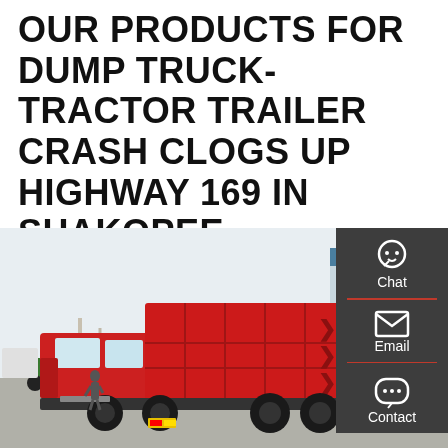OUR PRODUCTS FOR DUMP TRUCK-TRACTOR TRAILER CRASH CLOGS UP HIGHWAY 169 IN SHAKOPEE
[Figure (photo): A red dump truck photographed from the rear-left angle, parked on a paved surface. The truck has a large red cargo bed with decorative chevron cutouts. A person is visible near the cab. Storage cylinders and a blue-roofed building are visible in the background.]